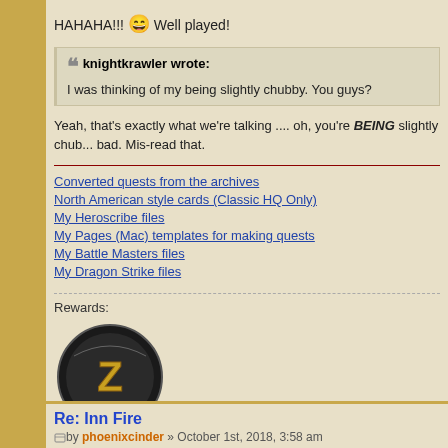HAHAHA!!! 😄 Well played!
knightkrawler wrote: I was thinking of my being slightly chubby. You guys?
Yeah, that's exactly what we're talking .... oh, you're BEING slightly chub... bad. Mis-read that.
Converted quests from the archives
North American style cards (Classic HQ Only)
My Heroscribe files
My Pages (Mac) templates for making quests
My Battle Masters files
My Dragon Strike files
Rewards:
[Figure (logo): Kickstarter Z logo badge — circular black/grey logo with green KICKSTARTER text and large Z letter]
Re: Inn Fire
by phoenixcinder » October 1st, 2018, 3:58 am